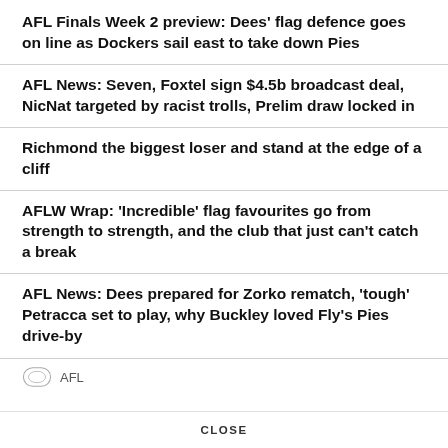AFL Finals Week 2 preview: Dees' flag defence goes on line as Dockers sail east to take down Pies
AFL News: Seven, Foxtel sign $4.5b broadcast deal, NicNat targeted by racist trolls, Prelim draw locked in
Richmond the biggest loser and stand at the edge of a cliff
AFLW Wrap: 'Incredible' flag favourites go from strength to strength, and the club that just can't catch a break
AFL News: Dees prepared for Zorko rematch, 'tough' Petracca set to play, why Buckley loved Fly's Pies drive-by
AFL
CLOSE